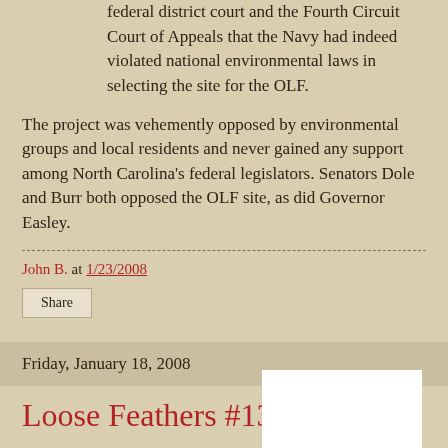federal district court and the Fourth Circuit Court of Appeals that the Navy had indeed violated national environmental laws in selecting the site for the OLF.
The project was vehemently opposed by environmental groups and local residents and never gained any support among North Carolina's federal legislators. Senators Dole and Burr both opposed the OLF site, as did Governor Easley.
John B. at 1/23/2008
Share
Friday, January 18, 2008
Loose Feathers #133
[Figure (photo): White rectangular image placeholder at bottom of page]